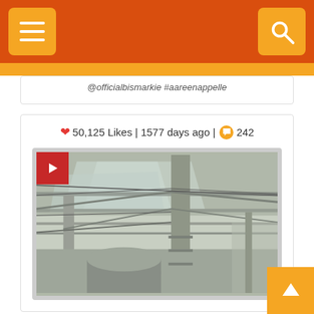Menu | Search
@officialbismarkie #aareenappelle
50,125 Likes | 1577 days ago | 242
[Figure (photo): Industrial warehouse interior showing steel beams, columns, and roof structure with skylights. Video player overlay with red play button in top-left corner.]
This is not meant to be a trending post. This is REQUIRED VIEWING. Much respect to this Black